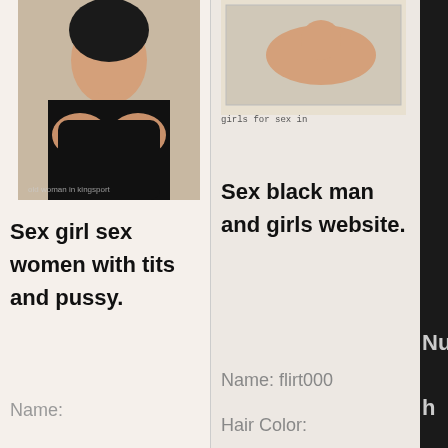[Figure (photo): Woman in black lingerie, photo with watermark 'old woman in kingsport']
[Figure (photo): Woman lying on a surface, small thumbnail image, caption 'girls for sex in']
girls for sex in
Sex girl sex women with tits and pussy.
Sex black man and girls website.
Nu h
Name:
Name: flirt000
Hair Color: